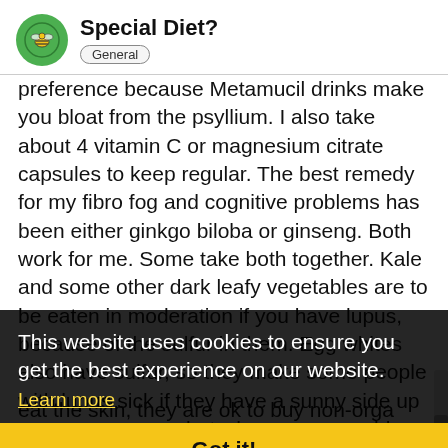Special Diet?  General
preference because Metamucil drinks make you bloat from the psyllium. I also take about 4 vitamin C or magnesium citrate capsules to keep regular. The best remedy for my fibro fog and cognitive problems has been either ginkgo biloba or ginseng. Both work for me. Some take both together. Kale and some other dark leafy vegetables are to be eaten in moderation if you have lupus, because of the sulfur in them. Egg whites also have sulfur, so they make some people with lupus sick if they have a sunny side up or over easy egg, but when you scramble them, as they are broken up the sulfur is dispersed and doesn't bother them. I did try some of the anti-inflammatory diets, but I found that I had to pick and choose my own selections according to my circumstances and my individual medical issues. You're right on about the organic beef, milk, chicken. I would add organic vegetables but thin skins on them, you don't have to spring for the organic produce, items like plus and avocados and other thicker skinned item eat the skin, they are ok to buy non-orga
This website uses cookies to ensure you get the best experience on our website. Learn more  Got it!